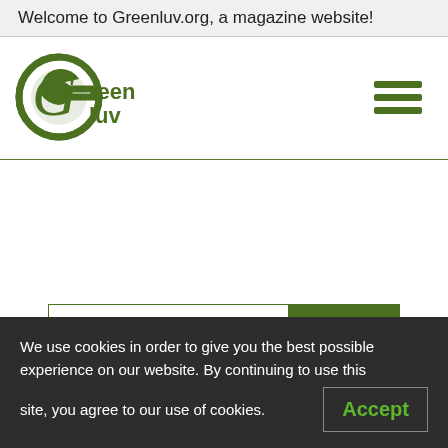Welcome to Greenluv.org, a magazine website!
[Figure (logo): Greenluv logo: green circular G icon with 'Green luv' text in dark green]
[Figure (other): Hamburger menu icon: three horizontal dark green bars]
Search
We use cookies in order to give you the best possible experience on our website. By continuing to use this site, you agree to our use of cookies.
Accept